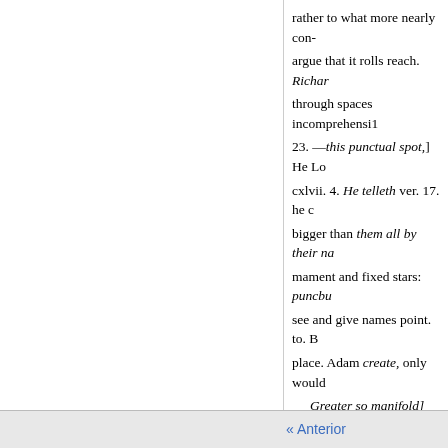rather to what more nearly con- argue that it rolls reach. Richar through spaces incomprehensi1 23. —this punctual spot,] He Lo cxlvii. 4. He telleth ver. 17. he c bigger than them all by their na mament and fixed stars: puncbu see and give names point. to. B place. Adam create, only would Greater so manifold] few, bu As if he had said, So many n bler, so many greater ; but he M vii. 621. Greater so many, manifold f 29. Manifold is probably used T comprehensible: when a body m earth. Ė. forms its circuit in a da a
« Anterior